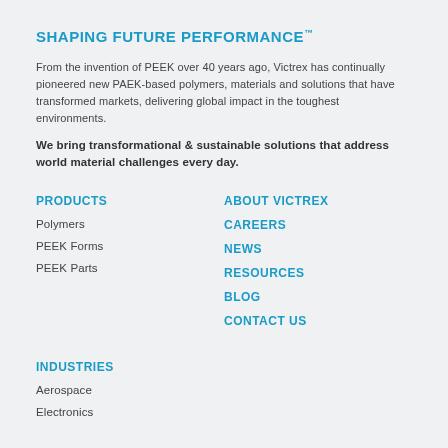SHAPING FUTURE PERFORMANCE™
From the invention of PEEK over 40 years ago, Victrex has continually pioneered new PAEK-based polymers, materials and solutions that have transformed markets, delivering global impact in the toughest environments.
We bring transformational & sustainable solutions that address world material challenges every day.
PRODUCTS
Polymers
PEEK Forms
PEEK Parts
ABOUT VICTREX
CAREERS
NEWS
RESOURCES
BLOG
CONTACT US
INDUSTRIES
Aerospace
Electronics